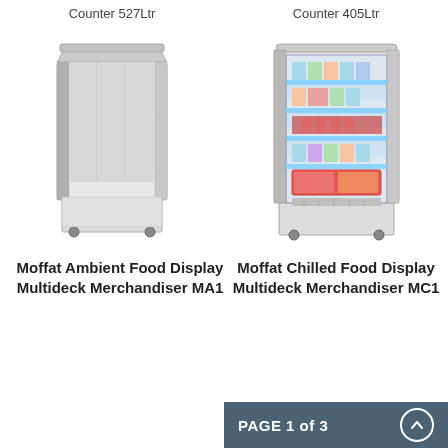Counter 527Ltr
Counter 405Ltr
[Figure (photo): Moffat Ambient Food Display Multideck Merchandiser MA1 - open-front multi-shelf stainless steel display unit on wheels]
[Figure (photo): Moffat Chilled Food Display Multideck Merchandiser MC1 - glass-front refrigerated display unit with illuminated shelves stocked with products, on wheels]
Moffat Ambient Food Display Multideck Merchandiser MA1
Moffat Chilled Food Display Multideck Merchandiser MC1
PAGE 1 of 3